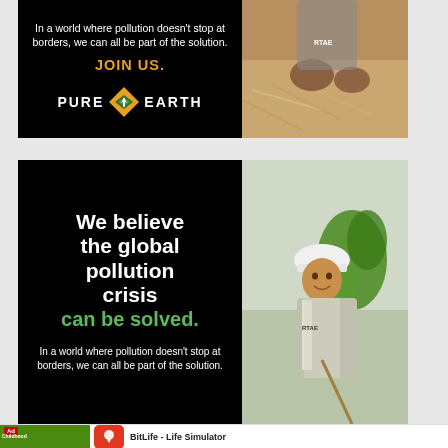[Figure (infographic): Pure Earth advertisement banner (top, partially cropped). Left black panel: 'In a world where pollution doesn't stop at borders, we can all be part of the solution. JOIN US.' and Pure Earth logo. Right panel: photo of a person planting.]
[Figure (infographic): Pure Earth advertisement banner. Left black panel: 'We believe the global pollution crisis can be solved. In a world where pollution doesn't stop at borders, we can all be part of the solution.' Right panel: photo of a worker in a white hard hat near green plants.]
[Figure (screenshot): App install advertisement for BitLife - Life Simulator. Shows app gameplay screenshot on left, BitLife logo icon on right, text 'BitLife - Life Simulator', button 'Install!']